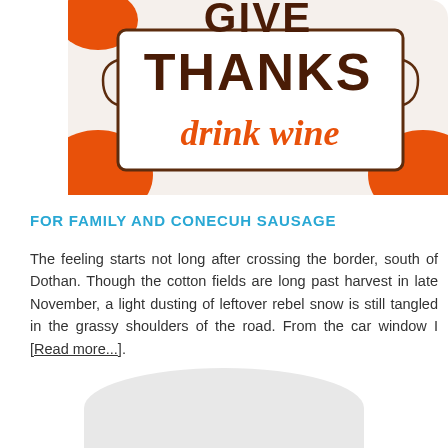[Figure (photo): Close-up photo of a decorative napkin or sign with the text 'THANKS drink wine' in brown and orange lettering on a white background with orange decorative border elements]
FOR FAMILY AND CONECUH SAUSAGE
The feeling starts not long after crossing the border, south of Dothan. Though the cotton fields are long past harvest in late November, a light dusting of leftover rebel snow is still tangled in the grassy shoulders of the road. From the car window I [Read more...].